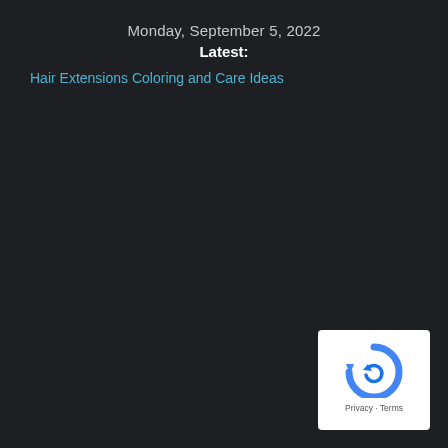Monday, September 5, 2022
Latest:
Hair Extensions Coloring and Care Ideas
[Figure (logo): Google reCAPTCHA badge with circular arrow logo and Privacy - Terms text]